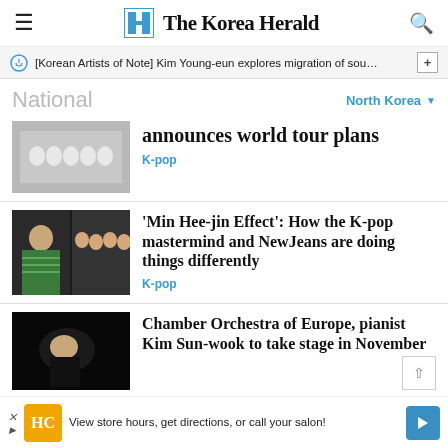The Korea Herald
[Korean Artists of Note] Kim Young-eun explores migration of sou…
National
North Korea
announces world tour plans
K-pop
'Min Hee-jin Effect': How the K-pop mastermind and NewJeans are doing things differently
K-pop
Chamber Orchestra of Europe, pianist Kim Sun-wook to take stage in November
View store hours, get directions, or call your salon!